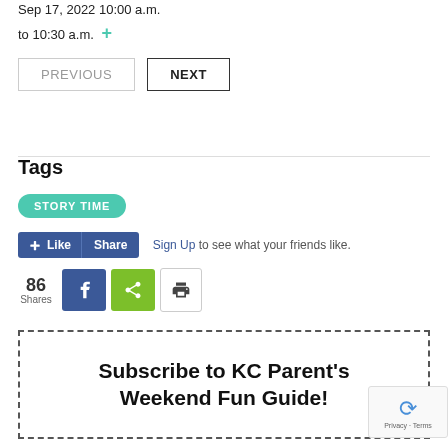Sep 17, 2022 10:00 a.m. to 10:30 a.m. +
PREVIOUS  NEXT
Tags
STORY TIME
Like  Share  Sign Up to see what your friends like.
86 Shares
Subscribe to KC Parent's Weekend Fun Guide!